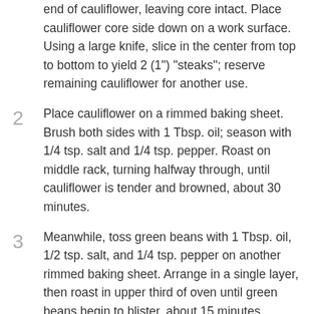end of cauliflower, leaving core intact. Place cauliflower core side down on a work surface. Using a large knife, slice in the center from top to bottom to yield 2 (1") "steaks"; reserve remaining cauliflower for another use.
2 Place cauliflower on a rimmed baking sheet. Brush both sides with 1 Tbsp. oil; season with 1/4 tsp. salt and 1/4 tsp. pepper. Roast on middle rack, turning halfway through, until cauliflower is tender and browned, about 30 minutes.
3 Meanwhile, toss green beans with 1 Tbsp. oil, 1/2 tsp. salt, and 1/4 tsp. pepper on another rimmed baking sheet. Arrange in a single layer, then roast in upper third of oven until green beans begin to blister, about 15 minutes.
4 Whisk garlic, lemon zest, 1/3 cup parsley, and